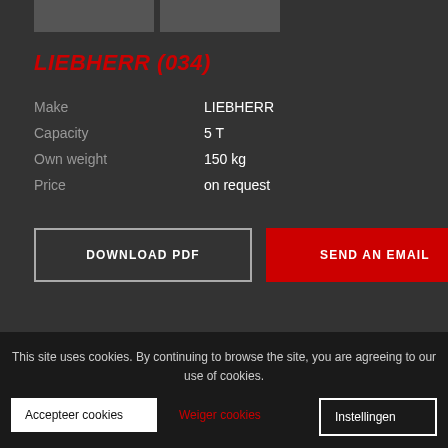LIEBHERR (034)
| Field | Value |
| --- | --- |
| Make | LIEBHERR |
| Capacity | 5 T |
| Own weight | 150 kg |
| Price | on request |
DOWNLOAD PDF
SEND AN EMAIL
This site uses cookies. By continuing to browse the site, you are agreeing to our use of cookies.
Accepteer cookies
Weiger cookies
Instellingen